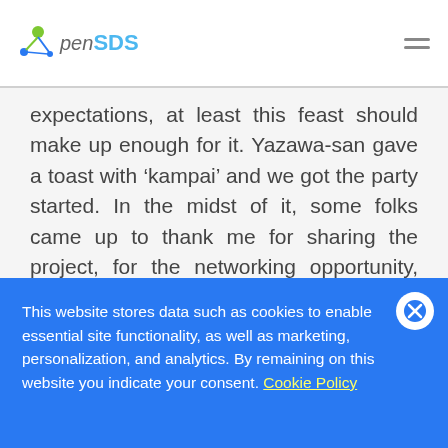OpenSDS
expectations, at least this feast should make up enough for it. Yazawa-san gave a toast with ‘kampai’ and we got the party started. In the midst of it, some folks came up to thank me for sharing the project, for the networking opportunity, and for getting the Japan community together. I thanked them back for giving support to the project.

It was nice to see most folks staying
This website stores data such as cookies to enable essential site functionality, as well as marketing, personalization, and analytics. By remaining on this website you indicate your consent. Cookie Policy